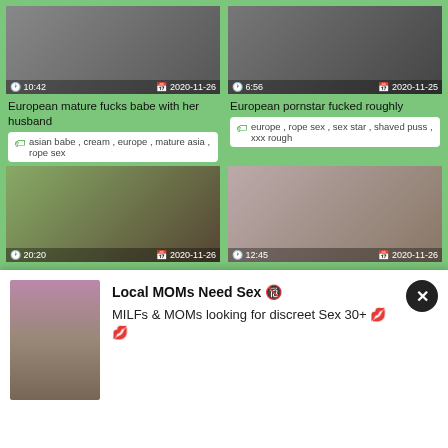[Figure (screenshot): Video thumbnail top-left with duration 10:42 and date 2020-11-26]
European mature fucks babe with her husband
asian babe , cream , europe , mature asia , rope sex
[Figure (screenshot): Video thumbnail top-right with duration 6:56 and date 2020-11-25]
European pornstar fucked roughly
europe , rope sex , sex star , shaved puss , xxx rough
[Figure (screenshot): Video thumbnail mid-left with duration 20:20 and date 2020-11-26]
Ava devine loves a man who can give her a proper p
creampies , rope sex
[Figure (screenshot): Video thumbnail mid-right with duration 12:45 and date 2020-11-26]
Dirty Flix Ready for you Sheri Vi teen hd porn
dirty porn , europe , HD , rope sex ,
[Figure (screenshot): Pop-up ad showing woman photo with text: Local MOMs Need Sex, MILFs & MOMs looking for discreet Sex 30+]